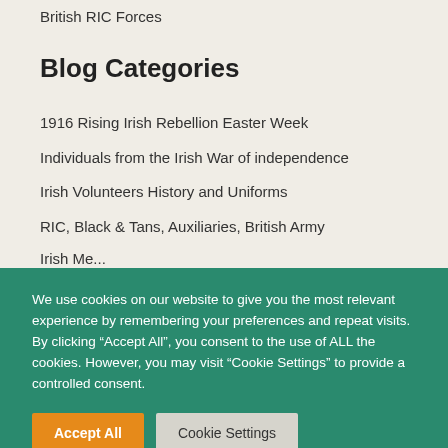British RIC Forces
Blog Categories
1916 Rising Irish Rebellion Easter Week
Individuals from the Irish War of independence
Irish Volunteers History and Uniforms
RIC, Black & Tans, Auxiliaries, British Army
Irish Me...
We use cookies on our website to give you the most relevant experience by remembering your preferences and repeat visits. By clicking “Accept All”, you consent to the use of ALL the cookies. However, you may visit “Cookie Settings” to provide a controlled consent.
Accept All
Cookie Settings